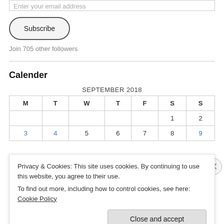Enter your email address
Subscribe
Join 705 other followers
Calender
| M | T | W | T | F | S | S |
| --- | --- | --- | --- | --- | --- | --- |
|  |  |  |  |  | 1 | 2 |
| 3 | 4 | 5 | 6 | 7 | 8 | 9 |
Privacy & Cookies: This site uses cookies. By continuing to use this website, you agree to their use.
To find out more, including how to control cookies, see here: Cookie Policy
Close and accept